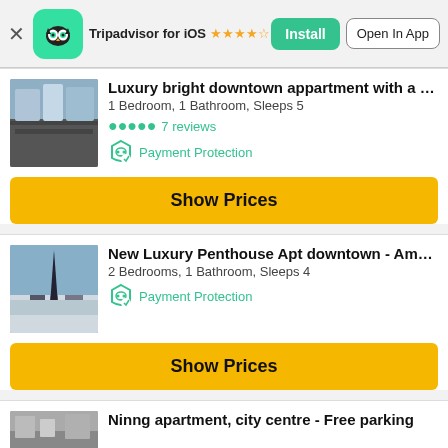Tripadvisor for iOS ★★★★½ (110,043) Install | Open In App
Luxury bright downtown appartment with a s...
1 Bedroom, 1 Bathroom, Sleeps 5
● ● ● ● ● 7 reviews
Payment Protection
Show Prices
New Luxury Penthouse Apt downtown - Amaz...
2 Bedrooms, 1 Bathroom, Sleeps 4
Payment Protection
Show Prices
Ninng apartment, city centre - Free parking